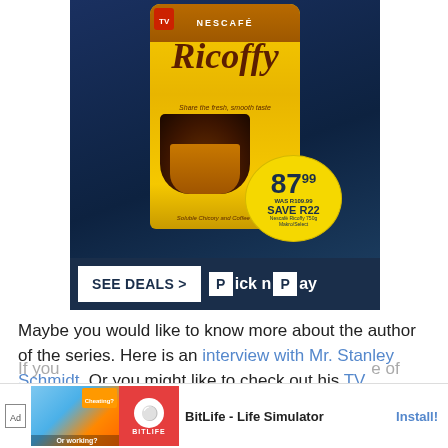[Figure (photo): Pick n Pay advertisement showing Nescafe Ricoffy coffee tin with price 87.99 and SAVE R22 offer, with SEE DEALS button and Pick n Pay logo at bottom]
Maybe you would like to know more about the author of the series. Here is an interview with Mr. Stanley Schmidt. Or you might like to check out his TV episodes from the 1990's.
If you... of Frederick... lo
[Figure (screenshot): BitLife - Life Simulator advertisement banner with Install button]